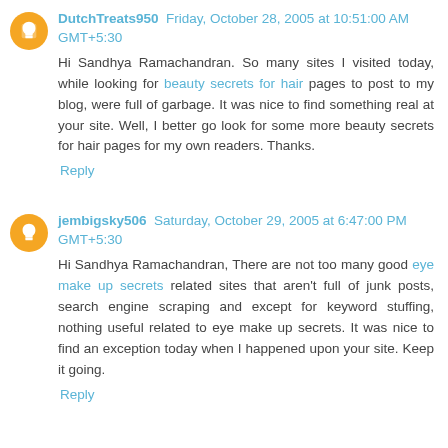DutchTreats950  Friday, October 28, 2005 at 10:51:00 AM GMT+5:30
Hi Sandhya Ramachandran. So many sites I visited today, while looking for beauty secrets for hair pages to post to my blog, were full of garbage. It was nice to find something real at your site. Well, I better go look for some more beauty secrets for hair pages for my own readers. Thanks.
Reply
jembigsky506  Saturday, October 29, 2005 at 6:47:00 PM GMT+5:30
Hi Sandhya Ramachandran, There are not too many good eye make up secrets related sites that aren't full of junk posts, search engine scraping and except for keyword stuffing, nothing useful related to eye make up secrets. It was nice to find an exception today when I happened upon your site. Keep it going.
Reply